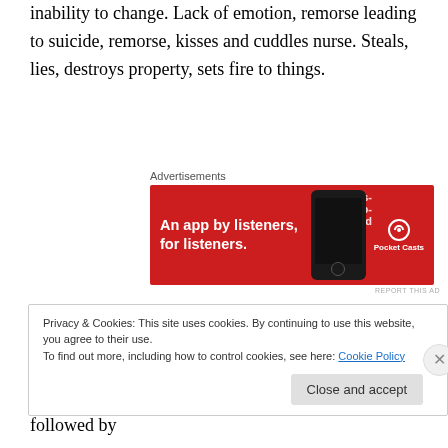inability to change. Lack of emotion, remorse leading to suicide, remorse, kisses and cuddles nurse. Steals, lies, destroys property, sets fire to things.
[Figure (other): Advertisement banner for Pocket Casts app. Red background with white text 'An app by listeners, for listeners.' and phone image.]
HEAD Rolls head from side to side, bangs head (before sleep, on floor, into mother's chest), picks at his hair or ears, migraines, morning headaches or wake at night, frontal or diffuse over scalp, afternoon naps followed by
Privacy & Cookies: This site uses cookies. By continuing to use this website, you agree to their use. To find out more, including how to control cookies, see here: Cookie Policy